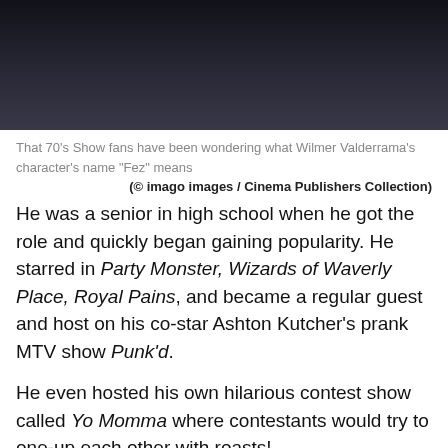[Figure (photo): Cropped photo of a person wearing a dark leather jacket, showing torso and lower face/neck area against a light background.]
That 70's Show fans have been wondering what Wilmer Valderrama's character's name "Fez" means
(© imago images / Cinema Publishers Collection)
He was a senior in high school when he got the role and quickly began gaining popularity. He starred in Party Monster, Wizards of Waverly Place, Royal Pains, and became a regular guest and host on his co-star Ashton Kutcher's prank MTV show Punk'd.
He even hosted his own hilarious contest show called Yo Momma where contestants would try to one-up each other with roasts!
Wilmer starred in countless tv shows like Handy Manny, the Sopranos, Awake, Raising Hope and The Ranch. Then in 2016, he was cast as "Special Agent